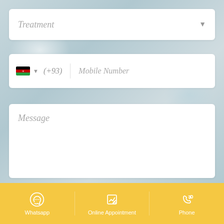[Figure (screenshot): Mobile form UI with blurred background, form fields for Treatment, Mobile Number, Message, Promotion Code, a submit button, and a bottom navigation bar with Whatsapp, Online Appointment, and Phone options]
Treatment
(+93)  Mobile Number
Message
Promotion Code ( Agency Code )
Whatsapp  Online Appointment  Phone